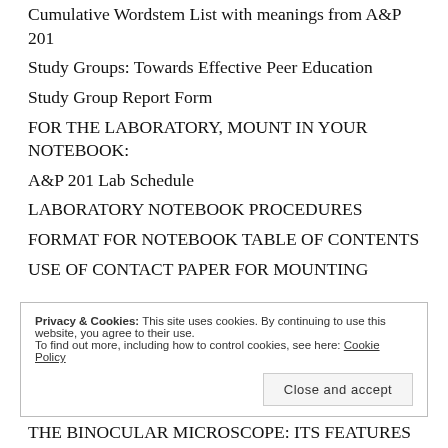Cumulative Wordstem List with meanings from A&P 201
Study Groups: Towards Effective Peer Education
Study Group Report Form
FOR THE LABORATORY, MOUNT IN YOUR NOTEBOOK:
A&P 201 Lab Schedule
LABORATORY NOTEBOOK PROCEDURES
FORMAT FOR NOTEBOOK TABLE OF CONTENTS
USE OF CONTACT PAPER FOR MOUNTING
Privacy & Cookies: This site uses cookies. By continuing to use this website, you agree to their use. To find out more, including how to control cookies, see here: Cookie Policy
Close and accept
THE BINOCULAR MICROSCOPE: ITS FEATURES